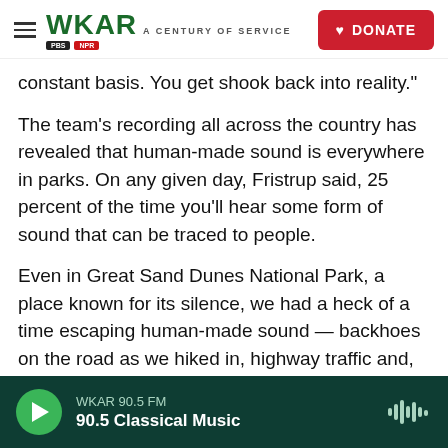WKAR A CENTURY OF SERVICE | DONATE
constant basis. You get shook back into reality."
The team's recording all across the country has revealed that human-made sound is everywhere in parks. On any given day, Fristrup said, 25 percent of the time you'll hear some form of sound that can be traced to people.
Even in Great Sand Dunes National Park, a place known for its silence, we had a heck of a time escaping human-made sound — backhoes on the road as we hiked in, highway traffic and, of course, tourists, even on a cold, blustery day. So we decided to climb into the d...
WKAR 90.5 FM | 90.5 Classical Music